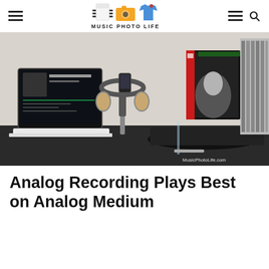MUSIC PHOTO LIFE
[Figure (photo): A desk setup showing a laptop with Spotify open, over-ear headphones on a stand, a vinyl record turntable with a record playing, a vinyl record album cover (Japanese artist Mariya Takeuchi), and a shelf of CDs in the background. Watermark reads MusicPhotoLife.com]
Analog Recording Plays Best on Analog Medium